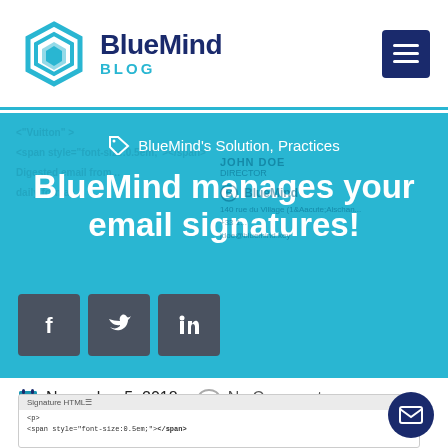BlueMind BLOG
[Figure (screenshot): BlueMind Blog hero banner with teal/cyan background showing tag 'BlueMind's Solution, Practices', title 'BlueMind manages your email signatures!', social share icons for Facebook, Twitter, LinkedIn, and a semi-transparent email signature preview on the right]
November 5, 2018   No Comments
[Figure (screenshot): Bottom strip showing a 'Signature HTML' editor panel with HTML code snippet visible]